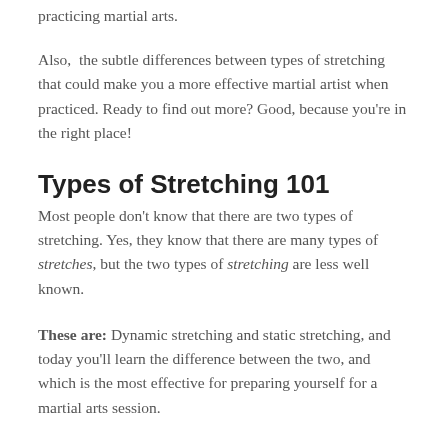practicing martial arts.
Also,  the subtle differences between types of stretching that could make you a more effective martial artist when practiced. Ready to find out more? Good, because you’re in the right place!
Types of Stretching 101
Most people don’t know that there are two types of stretching. Yes, they know that there are many types of stretches, but the two types of stretching are less well known.
These are: Dynamic stretching and static stretching, and today you’ll learn the difference between the two, and which is the most effective for preparing yourself for a martial arts session.